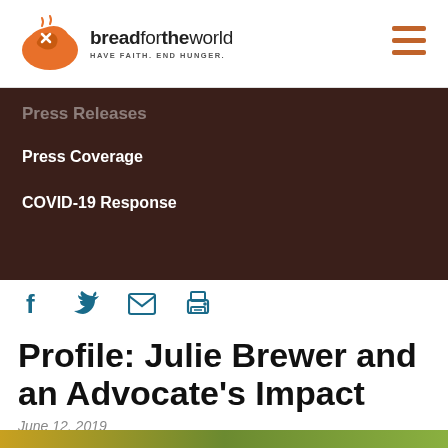[Figure (logo): Bread for the World logo with orange bread/wheat icon and text 'breadfortheworld HAVE FAITH. END HUNGER.']
breadfortheworld HAVE FAITH. END HUNGER.
Press Releases
Press Coverage
COVID-19 Response
[Figure (infographic): Social share icons: Facebook, Twitter, Email, Print in teal/dark teal color]
Profile: Julie Brewer and an Advocate's Impact
June 12, 2019
[Figure (photo): Partial bottom image strip showing colorful photograph]